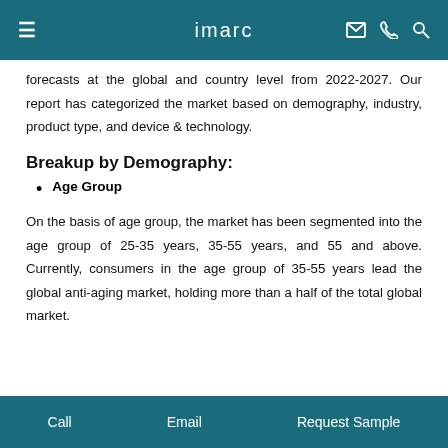imarc
forecasts at the global and country level from 2022-2027. Our report has categorized the market based on demography, industry, product type, and device & technology.
Breakup by Demography:
Age Group
On the basis of age group, the market has been segmented into the age group of 25-35 years, 35-55 years, and 55 and above. Currently, consumers in the age group of 35-55 years lead the global anti-aging market, holding more than a half of the total global market.
Call   Email   Request Sample